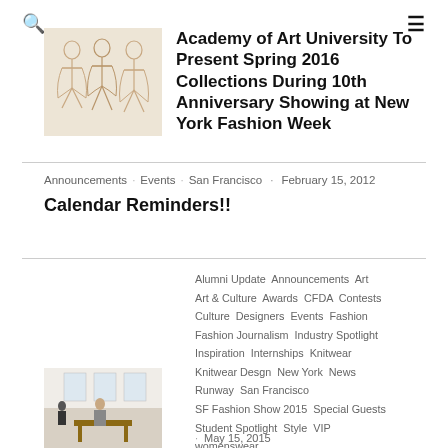🔍  ☰
Academy of Art University To Present Spring 2016 Collections During 10th Anniversary Showing at New York Fashion Week
Announcements · Events · San Francisco · February 15, 2012
Calendar Reminders!!
Alumni Update  Announcements  Art  Art & Culture  Awards  CFDA  Contests  Culture  Designers  Events  Fashion  Fashion Journalism  Industry Spotlight  Inspiration  Internships  Knitwear  Knitwear Desgn  New York  News  Runway  San Francisco  SF Fashion Show 2015  Special Guests  Student Spotlight  Style  VIP  womenswear
· May 15, 2015